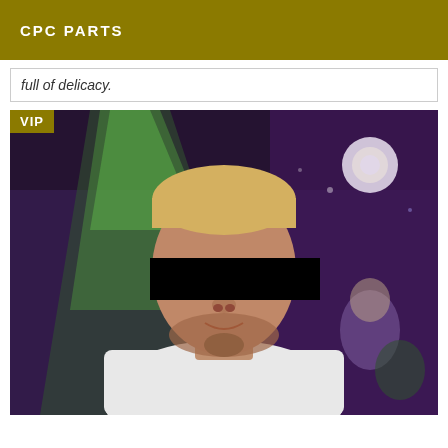CPC PARTS
full of delicacy.
[Figure (photo): A young man with short blond hair and a beard, wearing a white t-shirt and a chain necklace, standing in a nightclub with green and purple lighting. His eyes are redacted with a black bar. A VIP badge appears in the top-left corner of the photo.]